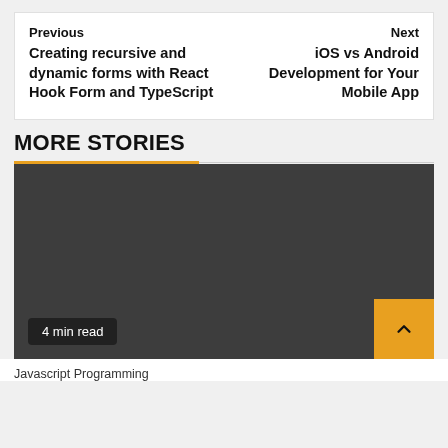Previous
Creating recursive and dynamic forms with React Hook Form and TypeScript
Next
iOS vs Android Development for Your Mobile App
MORE STORIES
[Figure (photo): Dark grey/charcoal placeholder image for a story card, with a '4 min read' badge in the bottom left and an orange scroll-to-top button in the bottom right corner.]
Javascript Programming